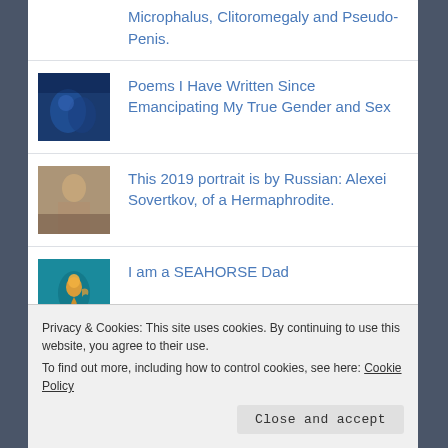Microphalus, Clitoromegaly and Pseudo-Penis.
Poems I Have Written Since Emancipating My True Gender and Sex
This 2019 portrait is by Russian: Alexei Sovertkov, of a Hermaphrodite.
I am a SEAHORSE Dad
Privacy & Cookies: This site uses cookies. By continuing to use this website, you agree to their use.
To find out more, including how to control cookies, see here: Cookie Policy